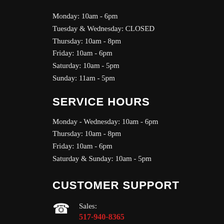Monday: 10am - 6pm
Tuesday & Wednesday: CLOSED
Thursday: 10am - 8pm
Friday: 10am - 6pm
Saturday: 10am - 5pm
Sunday: 11am - 5pm
SERVICE HOURS
Monday - Wednesday: 10am - 6pm
Thursday: 10am - 8pm
Friday: 10am - 6pm
Saturday & Sunday: 10am - 5pm
CUSTOMER SUPPORT
Sales: 517-940-8365
Service: